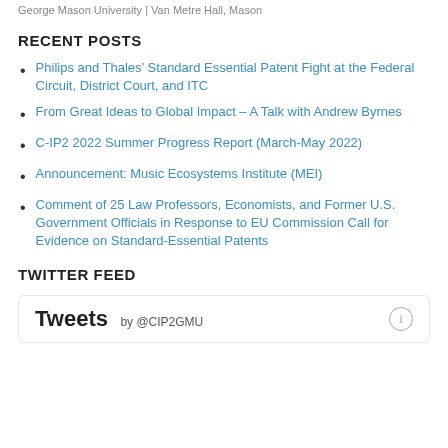George Mason University | Van Metre Hall, Mason
RECENT POSTS
Philips and Thales’ Standard Essential Patent Fight at the Federal Circuit, District Court, and ITC
From Great Ideas to Global Impact – A Talk with Andrew Byrnes
C-IP2 2022 Summer Progress Report (March-May 2022)
Announcement: Music Ecosystems Institute (MEI)
Comment of 25 Law Professors, Economists, and Former U.S. Government Officials in Response to EU Commission Call for Evidence on Standard-Essential Patents
TWITTER FEED
Tweets by @CIP2GMU